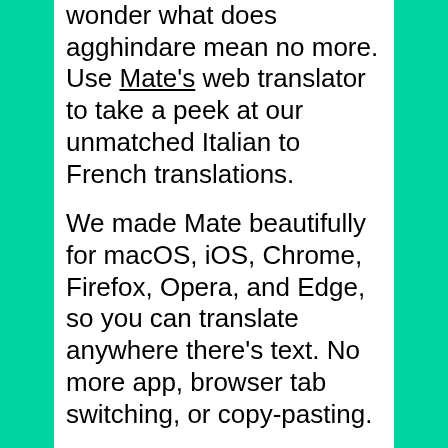wonder what does 'agghindare' mean no more. Use Mate's web translator to take a peek at our unmatched Italian to French translations.
We made Mate beautifully for macOS, iOS, Chrome, Firefox, Opera, and Edge, so you can translate anywhere there's text. No more app, browser tab switching, or copy-pasting.
The most advanced machine translation power right where you need it. Effortlessly translate between Italian, French, and 101 other languages on any website